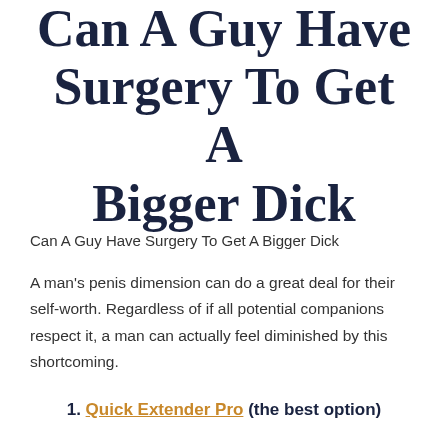Can A Guy Have Surgery To Get A Bigger Dick
Can A Guy Have Surgery To Get A Bigger Dick
A man's penis dimension can do a great deal for their self-worth. Regardless of if all potential companions respect it, a man can actually feel diminished by this shortcoming.
1. Quick Extender Pro (the best option)